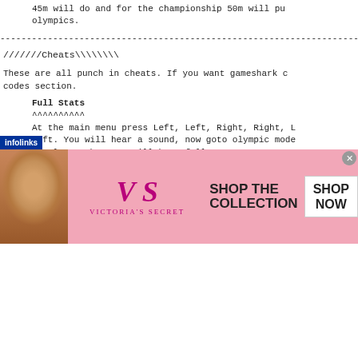45m will do and for the championship 50m will pu
olympics.
------------------------------------------------------------------------
////////Cheats\\\\\\\\
These are all punch in cheats. If you want gameshark c
codes section.
Full Stats
^^^^^^^^^^
At the main menu press Left, Left, Right, Right, L
Left. You will hear a sound, now goto olympic mode
complete, thus you will have full stats.
First in All Events
^^^^^^^^^^^^^^^^^^^
At the main menu press Triangle, Square, Circle, S
Gold Medals
^^^^^^^^^^
At the main menu press Circle, Cross, Triangle,
[Figure (infographic): Victoria's Secret advertisement banner with model photo, VS logo, 'SHOP THE COLLECTION' text, and 'SHOP NOW' button. infolinks badge visible on left.]